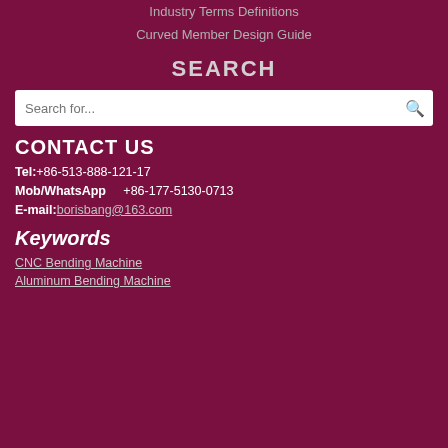Industry Terms Definitions
Curved Member Design Guide
SEARCH
Search for...
CONTACT US
Tel:+86-513-888-121-17
Mob/WhatsApp    +86-177-5130-0713
E-mail:borisbang@163.com
Keywords
CNC Bending Machine
Aluminum Bending Machine